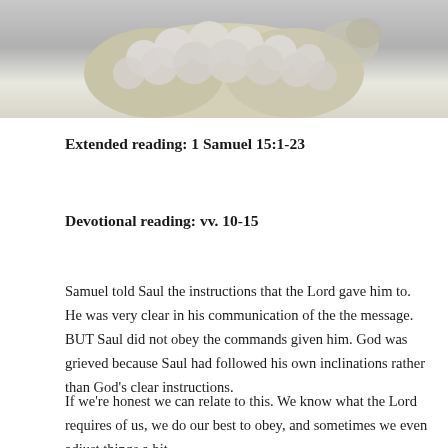[Figure (photo): Close-up photo of a sheep or lamb with woolly fleece, gray background, cropped at top of page]
Extended reading: 1 Samuel 15:1-23
Devotional reading: vv. 10-15
Samuel told Saul the instructions that the Lord gave him to. He was very clear in his communication of the the message. BUT Saul did not obey the commands given him. God was grieved because Saul had followed his own inclinations rather than God's clear instructions.
If we're honest we can relate to this. We know what the Lord requires of us, we do our best to obey, and sometimes we even adjust things a bit